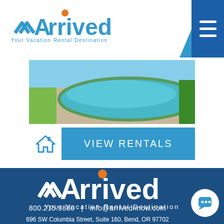[Figure (logo): Arrived - Your Vacation Rental Destination logo in blue with orange dot, on white background with blue diagonal header]
[Figure (photo): Aerial or poolside photo showing a swimming pool with blue water and surrounding patio]
VIEW RENTALS
[Figure (logo): Arrived - Your Vacation Rental Destination logo in white on dark blue footer background]
800.215.9880  |  info@arrivednnow.com
696 SW Columbia Street, Suite 160, Bend, OR 97702